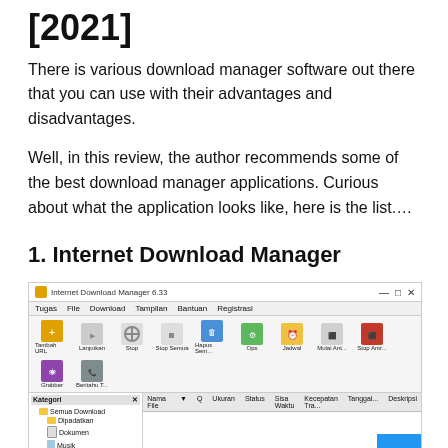[2021]
There is various download manager software out there that you can use with their advantages and disadvantages.
Well, in this review, the author recommends some of the best download manager applications. Curious about what the application looks like, here is the list….
1. Internet Download Manager
[Figure (screenshot): Screenshot of Internet Download Manager 6.33 application window showing the main interface with toolbar, sidebar categories (Semua Download, Dipadatkan, Dokumen, Musik, Program, Video, Tidak selesai, Terselesaikan, Proyek Grabber, Antrian) and main download list area with columns (Nama File, Q, Ukuran, Status, Sisa Waktu, Kecepatan Tra..., Tanggal..., Deskripsi). A blue scroll-to-top button is visible in the bottom-right corner.]